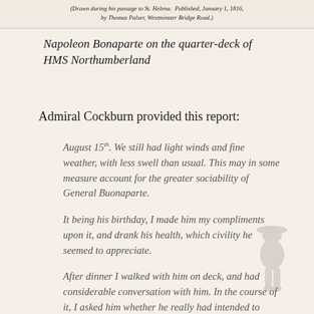(Drawn during his passage to St. Helena. Published, January 1, 1816, by Thomas Palser, Westminster Bridge Road.)
Napoleon Bonaparte on the quarter-deck of HMS Northumberland
Admiral Cockburn provided this report:
August 15th. We still had light winds and fine weather, with less swell than usual. This may in some measure account for the greater sociability of General Buonaparte.
It being his birthday, I made him my compliments upon it, and drank his health, which civility he seemed to appreciate.
After dinner I walked with him on deck, and had considerable conversation with him. In the course of it, I asked him whether he really had intended to invade England, when he made the demonstration at Boulogne